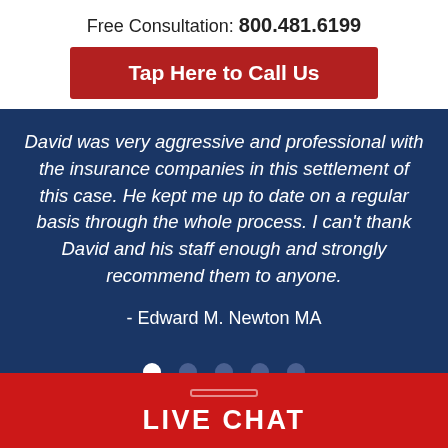Free Consultation: 800.481.6199
Tap Here to Call Us
David was very aggressive and professional with the insurance companies in this settlement of this case. He kept me up to date on a regular basis through the whole process. I can't thank David and his staff enough and strongly recommend them to anyone.
- Edward M. Newton MA
LIVE CHAT